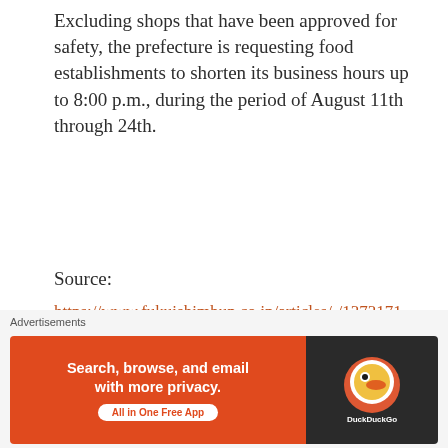Excluding shops that have been approved for safety, the prefecture is requesting food establishments to shorten its business hours up to 8:00 p.m., during the period of August 11th through 24th.
Source:
https://www.fukuishimbun.co.jp/articles/-/1373171
Tags: 感染 コロナウイルス CORONA CORONAVIRUS COVID19 福井 福井市 コロナ 感染者 英語 ENGLISH 福井 県 FUKUI FUKUI PREFECTURE FUKUI SHIMBUN JAPAN JAPANESE NOVEL CORONAVIRUS
[Figure (other): DuckDuckGo advertisement banner: Search, browse, and email with more privacy. All in One Free App]